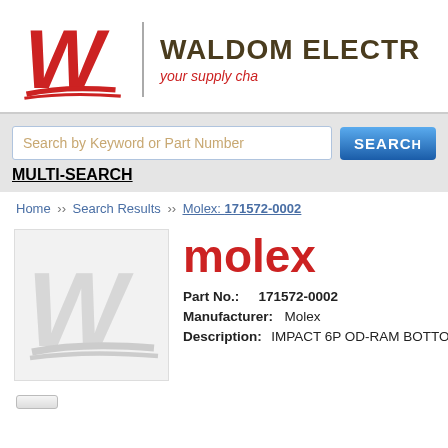[Figure (logo): Waldom Electronics logo with red W and company name]
Search by Keyword or Part Number
MULTI-SEARCH
Home ›› Search Results ›› Molex: 171572-0002
[Figure (logo): Molex logo in red text and Waldom W watermark]
Part No.: 171572-0002
Manufacturer: Molex
Description: IMPACT 6P OD-RAM BOTTOM GU...